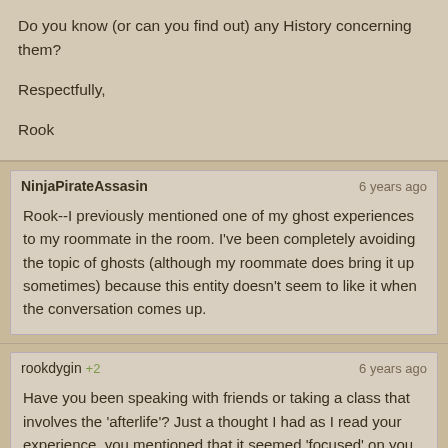Do you know (or can you find out) any History concerning them?

Respectfully,

Rook
NinjaPirateAssasin — 6 years ago
Rook--I previously mentioned one of my ghost experiences to my roommate in the room. I've been completely avoiding the topic of ghosts (although my roommate does bring it up sometimes) because this entity doesn't seem to like it when the conversation comes up.
rookdygin +2 — 6 years ago
Have you been speaking with friends or taking a class that involves the 'afterlife'? Just a thought I had as I read your experience, you mentioned that it seemed 'focused' on you, add that to the 'fact' it asked 'Do you Believe?' and it makes me think someone is trying to 'convince' you that 'spirits exist'.